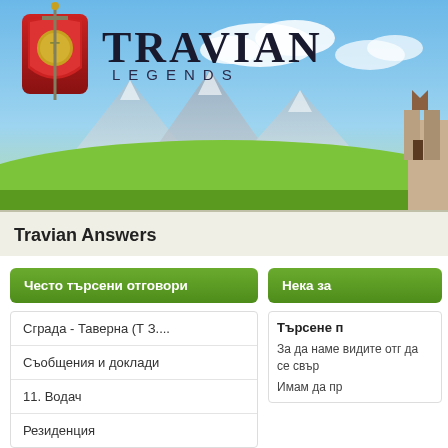[Figure (illustration): Travian Legends game banner with logo (shield icon with sword and 'T' emblem), 'TRAVIAN LEGENDS' text, illustrated mountain landscape with green fields and blue sky background, castle structure on right edge.]
Travian Answers
Често търсени отговори
Сграда - Таверна (Т З....
Съобщения и доклади
11. Водач
Резиденция
Нека за
Търсене п
За да наме видите отг да се свър
Имам да пр